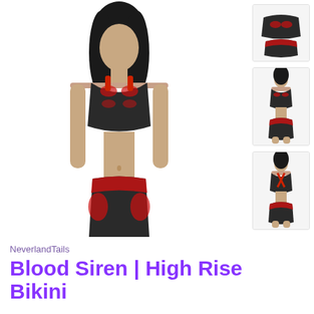[Figure (photo): Main product photo: woman wearing black and red leopard print high-rise bikini set, front view, white background]
[Figure (photo): Thumbnail 1: bikini top and bottom flat lay, black and red pattern, top view]
[Figure (photo): Thumbnail 2: model wearing bikini, front view, smaller]
[Figure (photo): Thumbnail 3: model wearing bikini, back view]
NeverlandTails
Blood Siren | High Rise Bikini